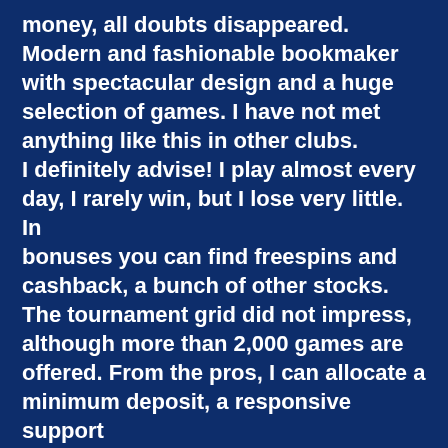money, all doubts disappeared. Modern and fashionable bookmaker with spectacular design and a huge selection of games. I have not met anything like this in other clubs. I definitely advise! I play almost every day, I rarely win, but I lose very little. In bonuses you can find freespins and cashback, a bunch of other stocks. The tournament grid did not impress, although more than 2,000 games are offered. From the pros, I can allocate a minimum deposit, a responsive support service. Withdrawal had to wait 3 days. I did not notice serious shortcomings.